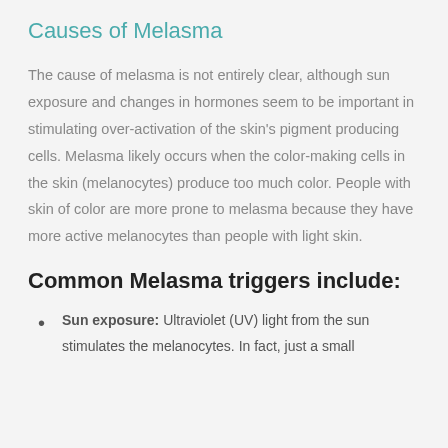Causes of Melasma
The cause of melasma is not entirely clear, although sun exposure and changes in hormones seem to be important in stimulating over-activation of the skin's pigment producing cells. Melasma likely occurs when the color-making cells in the skin (melanocytes) produce too much color. People with skin of color are more prone to melasma because they have more active melanocytes than people with light skin.
Common Melasma triggers include:
Sun exposure: Ultraviolet (UV) light from the sun stimulates the melanocytes. In fact, just a small amount of sun exposure can cause melasma to return after fading.